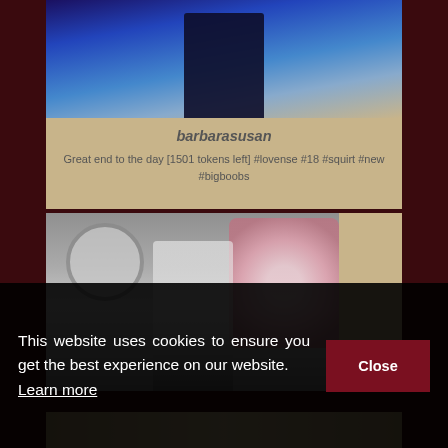[Figure (photo): Profile card for 'barbarasusan' showing a photo of a person from behind with blue background, below the photo is a tan/beige section with username and description text]
barbarasusan
Great end to the day [1501 tokens left] #lovense #18 #squirt #new #bigboobs
[Figure (photo): Photo of a woman in white top standing in front of a wall of flowers and a large clock]
This website uses cookies to ensure you get the best experience on our website. Learn more